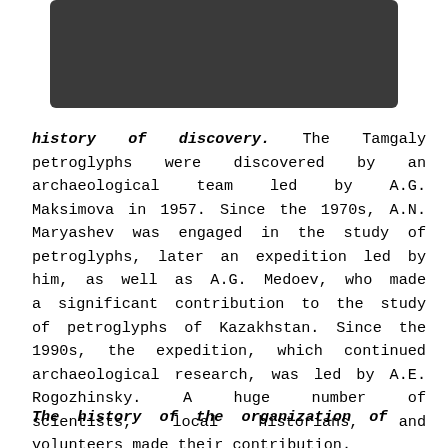[Figure (photo): Dark grey/black photograph partially visible at the top of the page, showing a textured dark surface]
history of discovery. The Tamgaly petroglyphs were discovered by an archaeological team led by A.G. Maksimova in 1957. Since the 1970s, A.N. Maryashev was engaged in the study of petroglyphs, later an expedition led by him, as well as A.G. Medoev, who made a significant contribution to the study of petroglyphs of Kazakhstan. Since the 1990s, the expedition, which continued archaeological research, was led by A.E. Rogozhinsky. A huge number of scientists, local historians, and volunteers made their contribution.
The history of the organization of